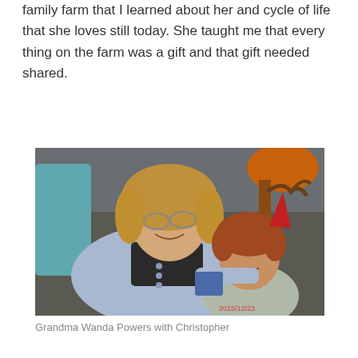family farm that I learned about her and cycle of life that she loves still today. She taught me that every thing on the farm was a gift and that gift needed shared.
[Figure (photo): An elderly woman with curly gray-blonde hair and glasses wearing a light blue jacket, smiling and posing with a young red-haired child wearing a small red party hat. Indoor setting with a lamp visible in the background. Timestamp reads 2015/12/23 in red.]
Grandma Wanda Powers with Christopher